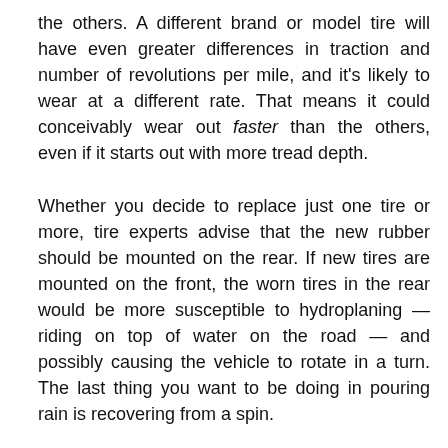the others. A different brand or model tire will have even greater differences in traction and number of revolutions per mile, and it's likely to wear at a different rate. That means it could conceivably wear out faster than the others, even if it starts out with more tread depth.
Whether you decide to replace just one tire or more, tire experts advise that the new rubber should be mounted on the rear. If new tires are mounted on the front, the worn tires in the rear would be more susceptible to hydroplaning — riding on top of water on the road — and possibly causing the vehicle to rotate in a turn. The last thing you want to be doing in pouring rain is recovering from a spin.
Cars.com's Editorial department is your source for automotive news and reviews. In line with Cars.com's